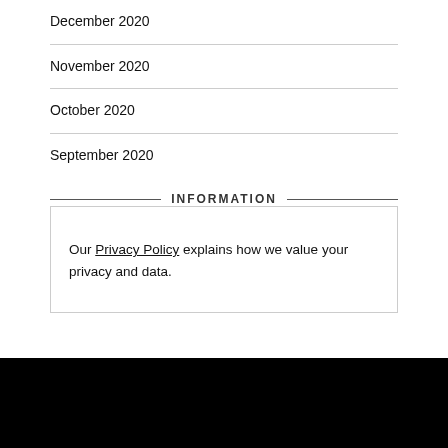December 2020
November 2020
October 2020
September 2020
INFORMATION
Our Privacy Policy explains how we value your privacy and data.